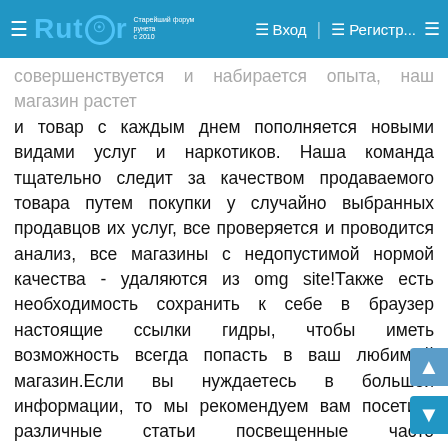Rutor — Вход — Регистр...
совершенствуется и набирается опыта, наш магазин растет и товар с каждым днем пополняется новыми видами услуг и наркотиков. Наша команда тщательно следит за качеством продаваемого товара путем покупки у случайно выбранных продавцов их услуг, все проверяется и проводится анализ, все магазины с недопустимой нормой качества - удаляются из omg site!Также есть необходимость сохранить к себе в браузер настоящие ссылки гидры, чтобы иметь возможность всегда попасть в ваш любимый магазин.Если вы нуждаетесь в большей информации, то мы рекомендуем вам посетить различные статьи посвещенные часто задаваемым вопросам. Перейти к мануалам. На сайте полным-полно различных статей, вам лишь необходимо найти ту что вам нужно, на официальном сайте присутствуют много статей, вы можете получить информацию от того как зайти на гидру онион до того как совершить первую покупку на гидре.После того как вы стали чуть умнее и научился пользовать тор гидрой, мы хотим пожелать вам приятных покупок и хорошоге времяприпровождения, не попадайтесь в руки мошенникам и перепроверяйте все линки по которым вы